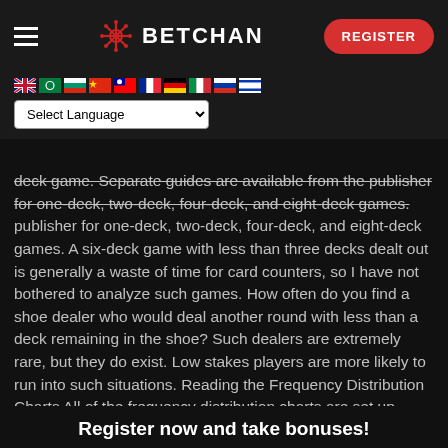BETCHAN
deck game. Separate guides are available from the publisher for one-deck, two-deck, four-deck, and eight-deck games. A six-deck game with less than three decks dealt out is generally a waste of time for card counters, so I have not bothered to analyze such games. How often do you find a shoe dealer who would deal another round with less than a deck remaining in the shoe? Such dealers are extremely rare, but they do exist. Low stakes players are more likely to run into such situations. Reading the Frequency Distribution Charts All of the frequency distribution charts are set up identically to the chart on the facing page.
Register now and take bonuses!